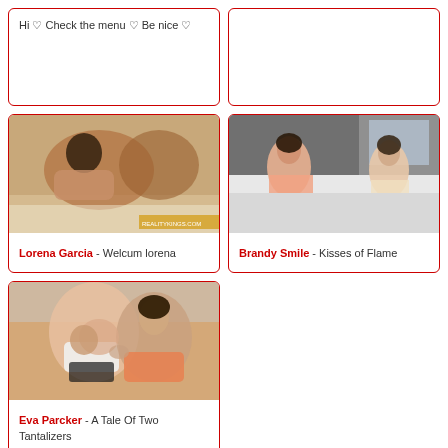Hi ♡ Check the menu ♡ Be nice ♡
[Figure (photo): Two people on a white bed, intimate scene, realitykings.com watermark]
[Figure (photo): Two women at a white table in a modern interior, one in pink top one in light outfit]
Lorena Garcia - Welcum lorena
Brandy Smile - Kisses of Flame
[Figure (photo): Two women in intimate embrace, one in white lingerie with black detail]
Eva Parcker - A Tale Of Two Tantalizers